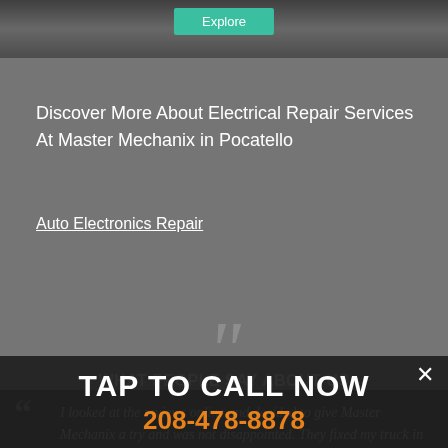[Figure (photo): Partial car/auto repair shop photo at top of page, dark toned]
Discover More About Electrical Repair Services At Master Mechanix in Pocatello
Auto Electronics Repair
WHAT PEOPLE SAY ABOUT US
TAP TO CALL NOW
208-478-8878
I looked at the reviews online and decided to give Master Mechanix a try and was not disappointed. They fixed my truck in like a quarter of the time I was expecting and at a incredibly reasonable price